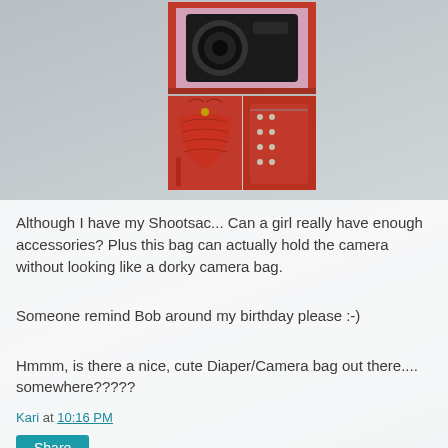[Figure (photo): Red camera/fashion bag shown in three views: top-down view of bag open with camera inside (Canon camera visible), and two exterior views of the red handbag from front and side]
Although I have my Shootsac... Can a girl really have enough accessories? Plus this bag can actually hold the camera without looking like a dorky camera bag.

Someone remind Bob around my birthday please :-)

Hmmm, is there a nice, cute Diaper/Camera bag out there.... somewhere?????
Kari at 10:16 PM
Share